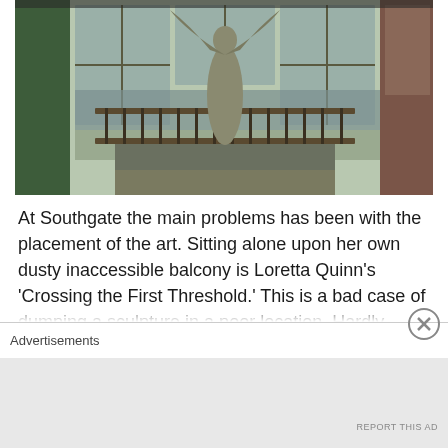[Figure (photo): Indoor photo of a bronze sculpture of a female figure with arms raised, placed on a dusty inaccessible balcony with metal railing, inside a building with large windows showing a river or waterway and urban buildings outside.]
At Southgate the main problems has been with the placement of the art. Sitting alone upon her own dusty inaccessible balcony is Loretta Quinn’s ‘Crossing the First Threshold.’ This is a bad case of dumping a sculpture in a poor location. Hardly anyone notices this sculpture and it [text cut off]
Advertisements
REPORT THIS AD